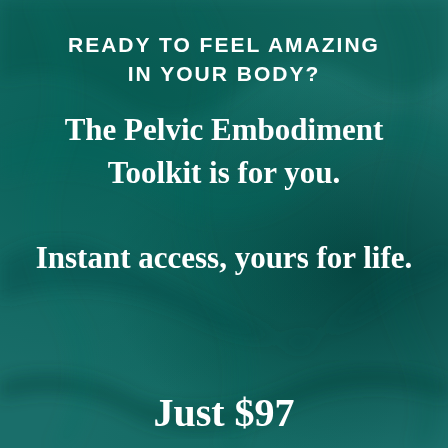READY TO FEEL AMAZING IN YOUR BODY?
The Pelvic Embodiment Toolkit is for you. Instant access, yours for life.
Just $97